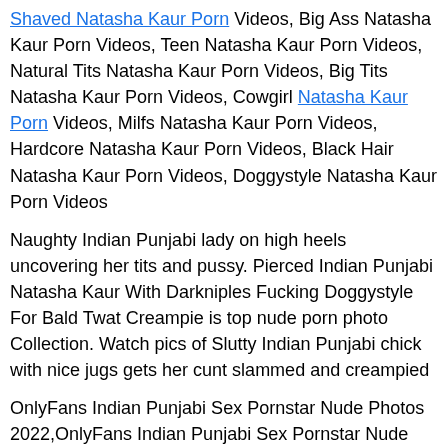Shaved Natasha Kaur Porn Videos, Big Ass Natasha Kaur Porn Videos, Teen Natasha Kaur Porn Videos, Natural Tits Natasha Kaur Porn Videos, Big Tits Natasha Kaur Porn Videos, Cowgirl Natasha Kaur Porn Videos, Milfs Natasha Kaur Porn Videos, Hardcore Natasha Kaur Porn Videos, Black Hair Natasha Kaur Porn Videos, Doggystyle Natasha Kaur Porn Videos
Naughty Indian Punjabi lady on high heels uncovering her tits and pussy. Pierced Indian Punjabi Natasha Kaur With Darkniples Fucking Doggystyle For Bald Twat Creampie is top nude porn photo Collection. Watch pics of Slutty Indian Punjabi chick with nice jugs gets her cunt slammed and creampied
OnlyFans Indian Punjabi Sex Pornstar Nude Photos 2022,OnlyFans Indian Punjabi Sex Pornstar Nude 2022,OnlyFans Indian Punjabi Nude Photos Leaked 2022,Indian Punjabi Sex Pornstar Natasha Kaur Nude 2022,OnlyFans Indian Punjabi Sex Pornstar Natasha Kaur Nude 2022,Indian Punjabi Sex Pornstar Natasha Kaur Nude 2022,OnlyFans Indian Punjabi Sex Pornstar Nude Photos 2022,OnlyFans Indian Punjabi Sex Pornstar Nude 2021,OnlyFans Indian Punjabi Nude Photos